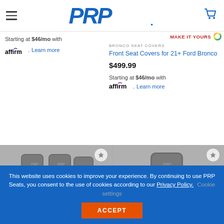[Figure (logo): PRP Seats logo in blue stylized letters]
Starting at $46/mo with affirm. Learn more
[Figure (screenshot): MAKE IT YOURS multicolor circle icon]
BRONCO SEAT COVERS
Front Seat Covers for 21+ Ford Bronco
$499.99
Starting at $46/mo with affirm. Learn more
[Figure (photo): Two gray seat covers with PRP logo visible, with star wishlist button]
[Figure (photo): Single gray seat cover with PRP logo visible, with star wishlist button]
This website uses cookies to improve your experience. By continuing to use PRP Seats, you consent to the use of cookies according to our Privacy Policy. Cookie settings
ACCEPT